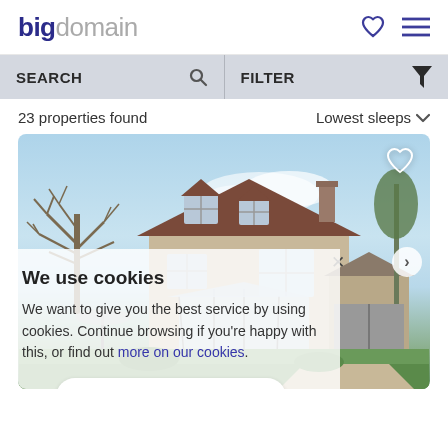bigdomain
SEARCH   FILTER
23 properties found   Lowest sleeps
[Figure (photo): Exterior photo of a large country property/house with bare winter trees on the left, a conservatory addition, brown roof with dormer windows, and a garage on the right, with a green lawn in the foreground and blue sky with clouds above.]
We use cookies
We want to give you the best service by using cookies. Continue browsing if you're happy with this, or find out more on our cookies.
Continue